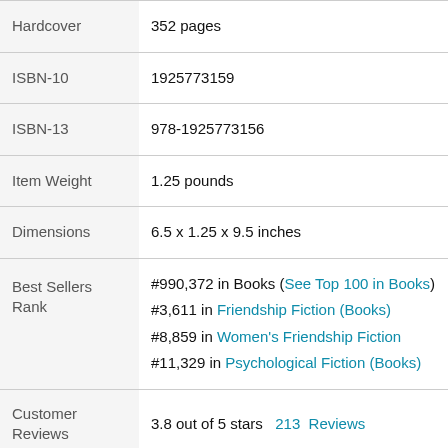| Property | Value |
| --- | --- |
| Hardcover | 352 pages |
| ISBN-10 | 1925773159 |
| ISBN-13 | 978-1925773156 |
| Item Weight | 1.25 pounds |
| Dimensions | 6.5 x 1.25 x 9.5 inches |
| Best Sellers Rank | #990,372 in Books (See Top 100 in Books)
#3,611 in Friendship Fiction (Books)
#8,859 in Women's Friendship Fiction
#11,329 in Psychological Fiction (Books) |
| Customer Reviews | 3.8 out of 5 stars   213  Reviews |